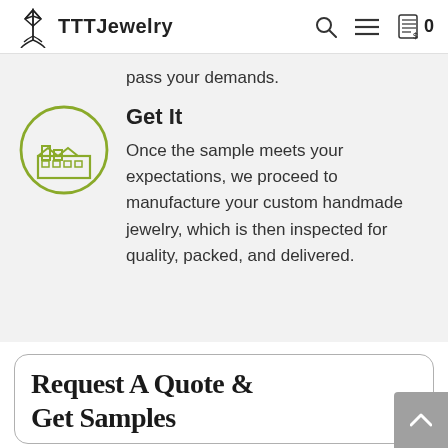TTTJewelry
pass your demands.
Get It
Once the sample meets your expectations, we proceed to manufacture your custom handmade jewelry, which is then inspected for quality, packed, and delivered.
Request A Quote & Get Samples